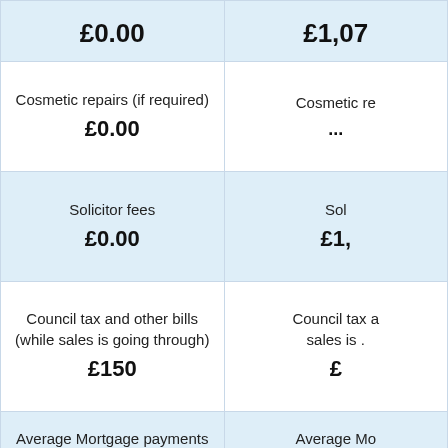| Column 1 | Column 2 |
| --- | --- |
| £0.00 | £1,07... |
| Cosmetic repairs (if required)
£0.00 | Cosmetic re...
... |
| Solicitor fees
£0.00 | Sol...
£1,... |
| Council tax and other bills (while sales is going through)
£150 | Council tax a... sales is ...
£... |
| Average Mortgage payments (while sale is going through) | Average Mo... (while sale... |